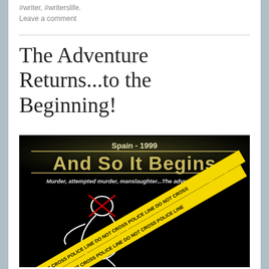#writer, #writerslife.
Leave a comment
The Adventure Returns...to the Beginning!
[Figure (illustration): Book cover for 'And So It Begins' set in Spain - 1999. Black background with white chalk outline of a body, a red crosshair circle, red X marks, and yellow crime scene tape reading 'POLICE LINE DO NOT CROSS'. Subtitle: 'Murder, attempted murder, manslaughter...The adventure begins!']